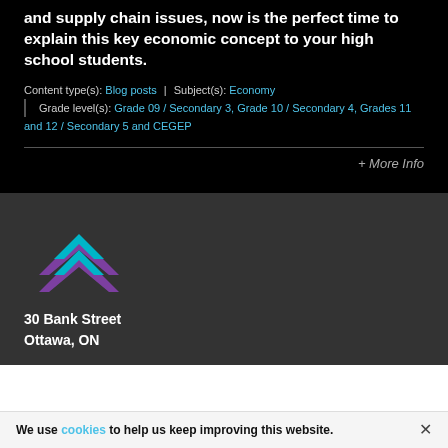and supply chain issues, now is the perfect time to explain this key economic concept to your high school students.
Content type(s): Blog posts | Subject(s): Economy | Grade level(s): Grade 09 / Secondary 3, Grade 10 / Secondary 4, Grades 11 and 12 / Secondary 5 and CEGEP
+ More Info
[Figure (logo): Bank of Canada Museum logo — two stacked double-chevron/arrow shapes, one cyan and one purple, overlapping]
30 Bank Street
Ottawa, ON
We use cookies to help us keep improving this website.